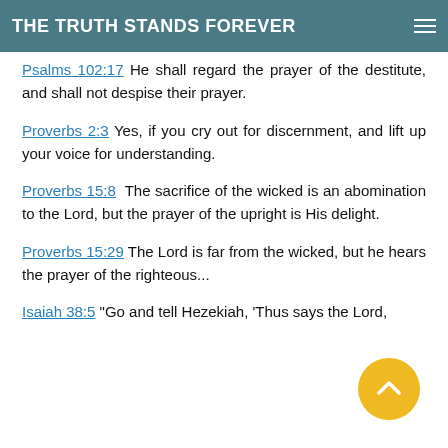THE TRUTH STANDS FOREVER
Psalms 102:17 He shall regard the prayer of the destitute, and shall not despise their prayer.
Proverbs 2:3 Yes, if you cry out for discernment, and lift up your voice for understanding.
Proverbs 15:8 The sacrifice of the wicked is an abomination to the Lord, but the prayer of the upright is His delight.
Proverbs 15:29 The Lord is far from the wicked, but he hears the prayer of the righteous...
Isaiah 38:5 "Go and tell Hezekiah, 'Thus says the Lord,